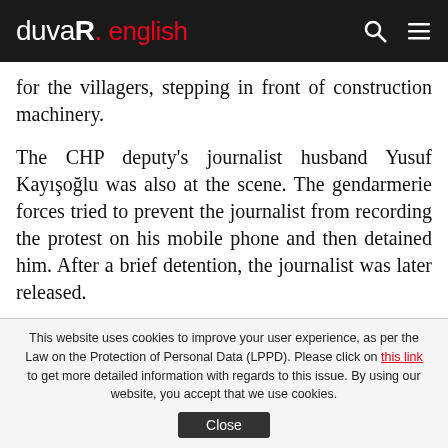duvaR. english
for the villagers, stepping in front of construction machinery.
The CHP deputy's journalist husband Yusuf Kayışoğlu was also at the scene. The gendarmerie forces tried to prevent the journalist from recording the protest on his mobile phone and then detained him. After a brief detention, the journalist was later released.
“They are bringing construction equipment to
This website uses cookies to improve your user experience, as per the Law on the Protection of Personal Data (LPPD). Please click on this link to get more detailed information with regards to this issue. By using our website, you accept that we use cookies.